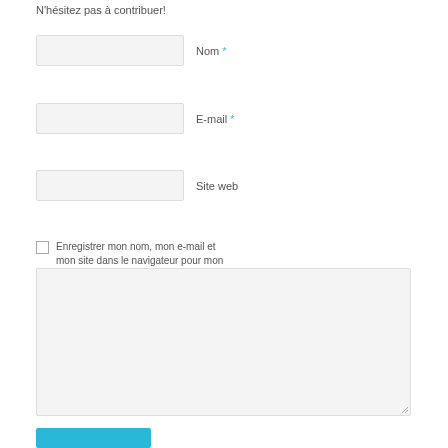N'hésitez pas à contribuer!
Nom *
E-mail *
Site web
Enregistrer mon nom, mon e-mail et mon site dans le navigateur pour mon prochain commentaire.